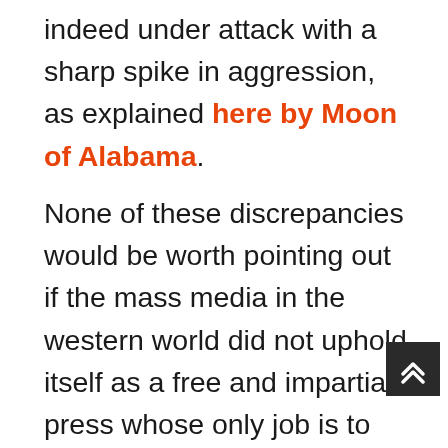indeed under attack with a sharp spike in aggression, as explained here by Moon of Alabama.
None of these discrepancies would be worth pointing out if the mass media in the western world did not uphold itself as a free and impartial press whose only job is to report the truth about what's happening in the world. If the western mass media were openly owned and controlled by the United States government for the explicitly stated purpose of distributing imperial propaganda, there would be nothing odd about brazen one-sided reporting which uncritically accepts unevidenced claims